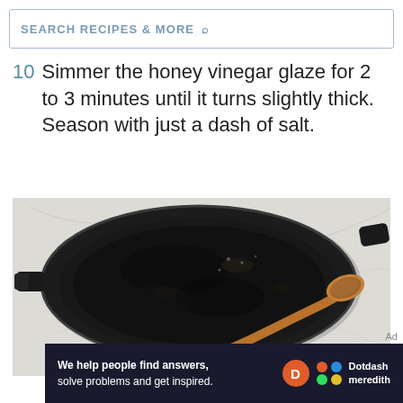SEARCH RECIPES & MORE
10  Simmer the honey vinegar glaze for 2 to 3 minutes until it turns slightly thick. Season with just a dash of salt.
[Figure (photo): Overhead view of a black cast iron skillet with dark honey vinegar glaze residue and a wooden spoon resting inside, on a white marble surface. A hand holds the spoon from below.]
We help people find answers, solve problems and get inspired.
[Figure (logo): Dotdash Meredith logo with orange D circle and colorful dots icon]